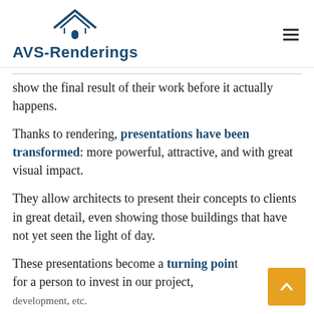AVS-Renderings
show the final result of their work before it actually happens.
Thanks to rendering, presentations have been transformed: more powerful, attractive, and with great visual impact.
They allow architects to present their concepts to clients in great detail, even showing those buildings that have not yet seen the light of day.
These presentations become a turning point for a person to invest in our project, development, etc.